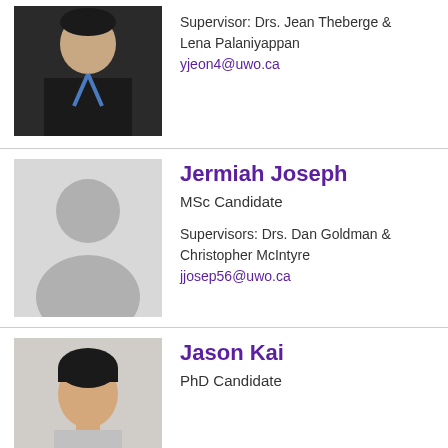[Figure (photo): Headshot photo of a person wearing a dark shirt with a blue lanyard]
Supervisor: Drs. Jean Theberge & Lena Palaniyappan
yjeon4@uwo.ca
[Figure (illustration): Generic silhouette placeholder image for profile photo]
Jermiah Joseph
MSc Candidate
Supervisors: Drs. Dan Goldman & Christopher McIntyre
jjosep56@uwo.ca
[Figure (photo): Headshot photo of a young man with short dark hair against a light background]
Jason Kai
PhD Candidate